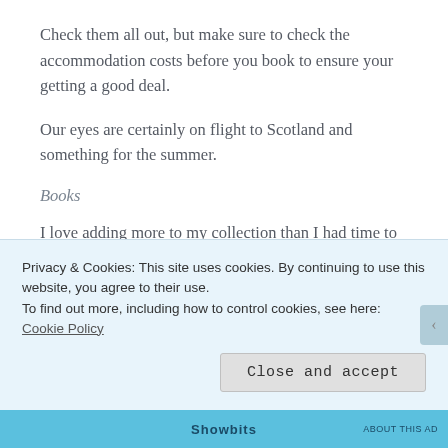Check them all out, but make sure to check the accommodation costs before you book to ensure your getting a good deal.
Our eyes are certainly on flight to Scotland and something for the summer.
Books
I love adding more to my collection than I had time to read last year. Both in print and Ebooks. Those on my list this Christmas are:
Privacy & Cookies: This site uses cookies. By continuing to use this website, you agree to their use.
To find out more, including how to control cookies, see here: Cookie Policy
Close and accept